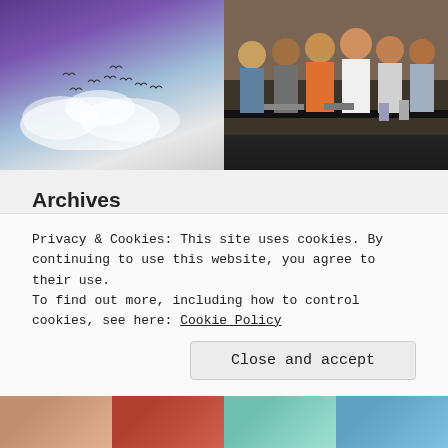[Figure (photo): Photo of purple and blue sky with clouds and birds flying]
[Figure (photo): Group photo of several men standing around a table with books, indoors]
Archives
Select Month (dropdown)
Privacy & Cookies: This site uses cookies. By continuing to use this website, you agree to their use.
To find out more, including how to control cookies, see here: Cookie Policy
Close and accept